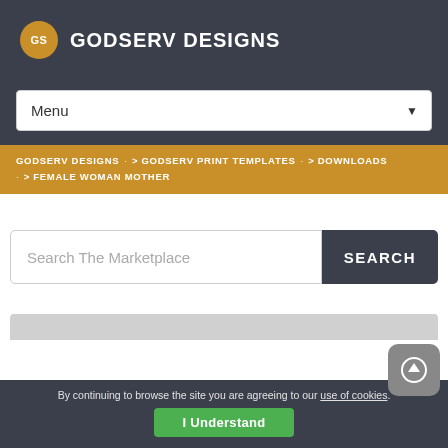GS GODSERV DESIGNS
Menu
GODSERV DESIGNS · > GODSERV PRINT TEMPLATES · > DOWNLOADS · > FEMALE WOMAN MOTHER
Search The Marketplace
SEARCH
[Figure (screenshot): Gray preview area at the bottom of the content]
By continuing to browse the site you are agreeing to our use of cookies. I Understand